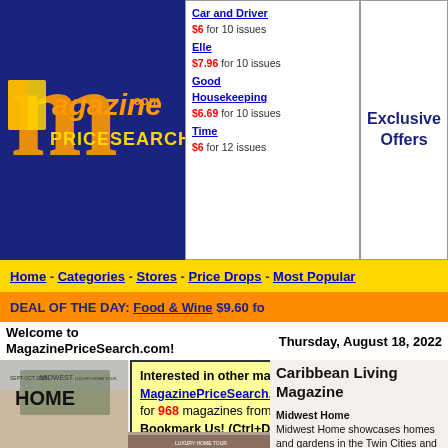[Figure (logo): MagazinePriceSearch.com logo with orange M and yellow text on dark blue background]
Car and Driver $6 for 10 issues
Elle $7.96 for 10 issues
Good Housekeeping $6.69 for 10 issues
Time $6 for 12 issues
Exclusive Offers
Christianity Today $11.75 for 12 issues
Cosmopolitan $11.50 for 7 issues
House Beautiful $12 for 6 issues
Town & Country $11.99 for 9 issues
Home - Categories - Stores - Price Drops - Most Popular
DEAL OF THE DAY: Food & Wine $9.60 fo...
Welcome to MagazinePriceSearch.com!
Thursday, August 18, 2022
Interested in other magazines too? MagazinePriceSearch.com tracks the lowest price for 968 magazines from 12 online magazine stores. Bookmark Us! (Ctrl+D)
[Figure (photo): Magazine cover of Midwest Home Sept-Oct 2020 Luxury Home Tour showing a modern house among pine trees at dusk]
Caribbean Living Magazine
Midwest Home
Midwest Home showcases homes and gardens in the Twin Cities and around Minnesota. Each issue brings you inside